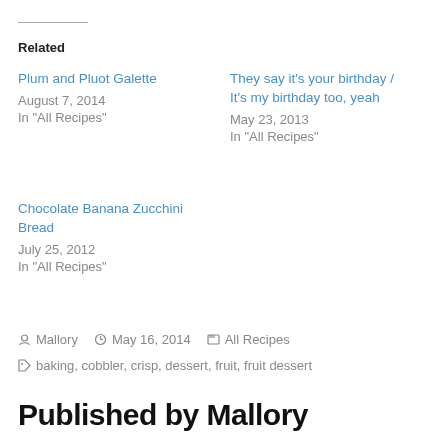Related
Plum and Pluot Galette
August 7, 2014
In "All Recipes"
They say it's your birthday / It's my birthday too, yeah
May 23, 2013
In "All Recipes"
Chocolate Banana Zucchini Bread
July 25, 2012
In "All Recipes"
Mallory  May 16, 2014  All Recipes
baking, cobbler, crisp, dessert, fruit, fruit dessert
Published by Mallory